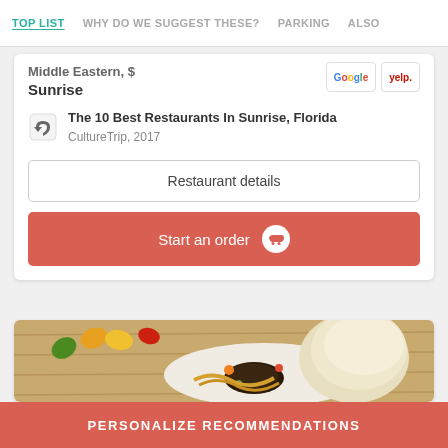TOP LIST | WHY DO WE SUGGEST THESE? | PARKING | ALSO
Middle Eastern, $
Sunrise
The 10 Best Restaurants In Sunrise, Florida
CultureTrip, 2017
Restaurant details
Start an order
[Figure (photo): Food photo showing colorful mini peppers, rice, mussels and other dishes on a wooden surface]
PERSONALIZE RECOMMENDATIONS